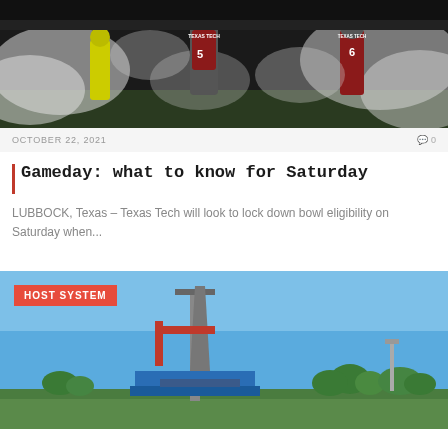[Figure (photo): Texas Tech football players running onto the field through smoke/fog, wearing red jerseys with numbers 5 and 6 visible]
OCTOBER 22, 2021
0
Gameday: what to know for Saturday
LUBBOCK, Texas – Texas Tech will look to lock down bowl eligibility on Saturday when...
[Figure (photo): Industrial drilling or mining equipment (rig) against a clear blue sky with trees in background. Red 'HOST SYSTEM' badge overlay in top left corner.]